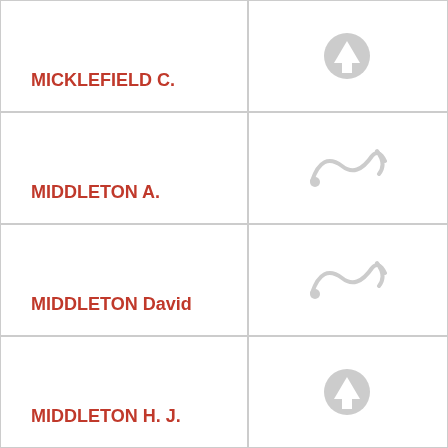MICKLEFIELD C.
[Figure (illustration): Upward arrow icon (grey)]
MIDDLETON A.
[Figure (illustration): Decorative swirl/flourish icon (grey)]
MIDDLETON David
[Figure (illustration): Decorative swirl/flourish icon (grey)]
MIDDLETON H. J.
[Figure (illustration): Upward arrow icon (grey)]